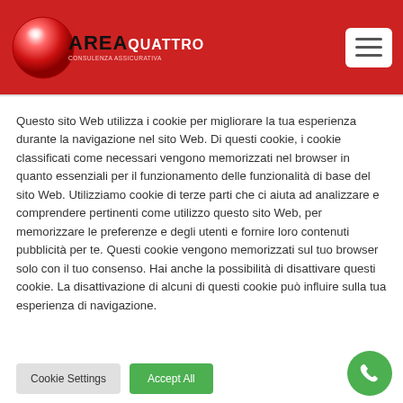[Figure (logo): Area Quattro logo with red glossy sphere and text AREA QUATTRO on red header background]
Questo sito Web utilizza i cookie per migliorare la tua esperienza durante la navigazione nel sito Web. Di questi cookie, i cookie classificati come necessari vengono memorizzati nel browser in quanto essenziali per il funzionamento delle funzionalità di base del sito Web. Utilizziamo cookie di terze parti che ci aiuta ad analizzare e comprendere pertinenti come utilizzo questo sito Web, per memorizzare le preferenze e degli utenti e fornire loro contenuti pubblicità per te. Questi cookie vengono memorizzati sul tuo browser solo con il tuo consenso. Hai anche la possibilità di disattivare questi cookie. La disattivazione di alcuni di questi cookie può influire sulla tua esperienza di navigazione.
Cookie Settings
Accept All